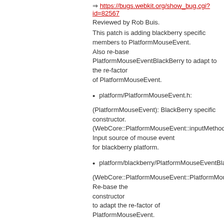⇒ https://bugs.webkit.org/show_bug.cgi?id=82567
Reviewed by Rob Buis.
This patch is adding blackberry specific members to PlatformMouseEvent. Also re-base PlatformMouseEventBlackBerry to adapt to the re-factor of PlatformMouseEvent.
platform/PlatformMouseEvent.h:
(PlatformMouseEvent): BlackBerry specific constructor. (WebCore::PlatformMouseEvent::inputMethod): Input source of mouse event for blackberry platform.
platform/blackberry/PlatformMouseEventBlackBerry.cpp:
(WebCore::PlatformMouseEvent::PlatformMouseEvent): Re-base the constructor to adapt the re-factor of PlatformMouseEvent.
8:20 PM April 2012 Meeting edited by dtharp@codeaurora.org (diff)
8:15 PM BuildingQtOnLinux edited by gram@company100.net (diff)
8:13 PM BuildingQtOnLinux edited by gram@company100.net (diff)
8:04 PM Changeset in webkit [112640] by leo.yang@torchmobile.com.cn